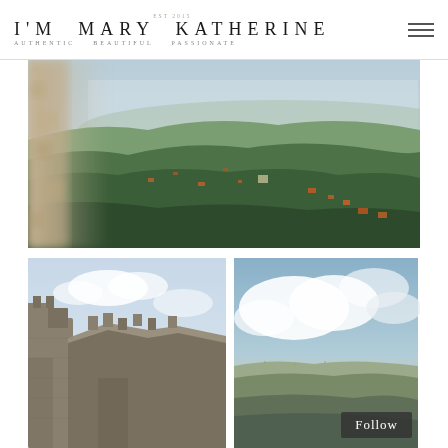EST 2015 | I'M MARY KATHERINE | AUTHENTIC · BEAUTIFUL · PASSIONATE
[Figure (photo): Aerial landscape photograph taken from a high vantage point showing a vast green valley with scattered towns, trees, and terracotta-roofed buildings stretching to the horizon under a hazy sky. Stone wall blurred in foreground left.]
[Figure (photo): Close-up photograph of ancient stone castle ramparts and ruined walls against a cloudy sky.]
[Figure (photo): Aerial landscape view from a high point showing rolling terrain and hazy horizon under a blue sky with clouds.]